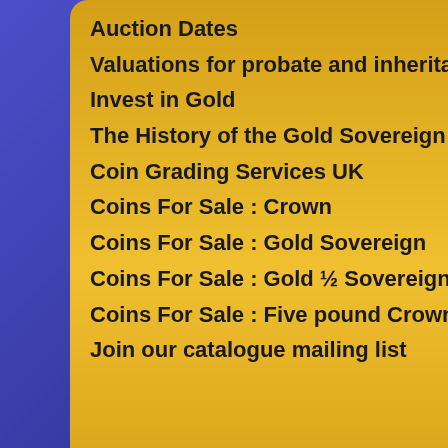Auction Dates
Valuations for probate and inheritance
Invest in Gold
The History of the Gold Sovereign
Coin Grading Services UK
Coins For Sale : Crown
Coins For Sale : Gold Sovereign
Coins For Sale : Gold ½ Sovereign
Coins For Sale : Five pound Crown
Join our catalogue mailing list
Find the value
Auction Search
Enter Auction Number
Auction 175 : 2021 Dece
Select Category
- Select Category -
Search
English Caseo
| Date Sold | Category |
| --- | --- |
| 05/12/2021 | English |
| Auction 175 | Caseo |
Upcoming Auction Dates